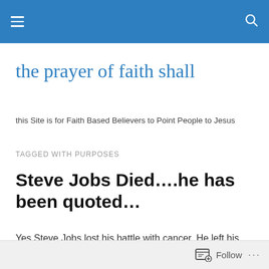the prayer of faith shall — site navigation header
the prayer of faith shall
this Site is for Faith Based Believers to Point People to Jesus
TAGGED WITH PURPOSES
Steve Jobs Died….he has been quoted…
Yes Steve Jobs lost his battle with cancer. He left his family…a huge empire… a legacy of coolness,
Follow